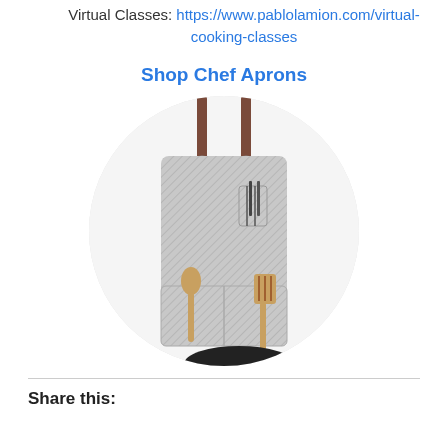Virtual Classes: https://www.pablolamon.com/virtual-cooking-classes
Shop Chef Aprons
[Figure (photo): A chef apron with striped fabric hanging from leather straps, with wooden cooking utensils (spoon and spatula) tucked into the front pocket, displayed in a circular cropped photo.]
Share this: